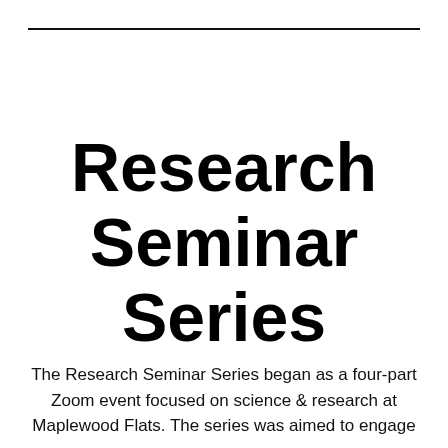Research Seminar Series
The Research Seminar Series began as a four-part Zoom event focused on science & research at Maplewood Flats. The series was aimed to engage